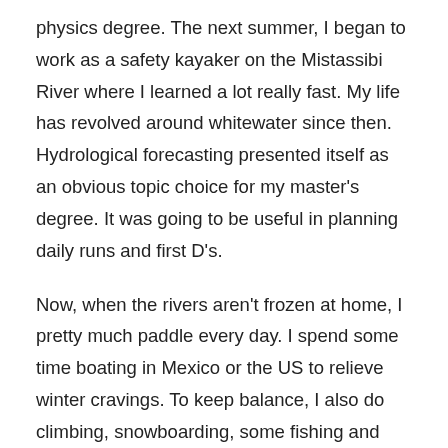physics degree. The next summer, I began to work as a safety kayaker on the Mistassibi River where I learned a lot really fast. My life has revolved around whitewater since then. Hydrological forecasting presented itself as an obvious topic choice for my master's degree. It was going to be useful in planning daily runs and first D's.

Now, when the rivers aren't frozen at home, I pretty much paddle every day. I spend some time boating in Mexico or the US to relieve winter cravings. To keep balance, I also do climbing, snowboarding, some fishing and sometimes I even eat veggies! However, kayaking always remains in the corner of my mind. I am stoked whenever I sit in a kayak, whether it's to paddle class II or V. I also enjoy racing from time to time. But at the end of the day, I think a steep canyon at high water is what this is all about. I love to paddle hard whitewater and push myself for the sake of it. I am comfortable in remote places facing hard decisions. I see clear when my mind runs fast and my heart pounds rapidly while